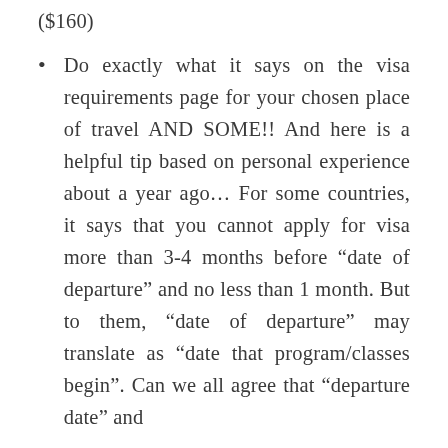($160)
Do exactly what it says on the visa requirements page for your chosen place of travel AND SOME!! And here is a helpful tip based on personal experience about a year ago… For some countries, it says that you cannot apply for visa more than 3-4 months before “date of departure” and no less than 1 month. But to them, “date of departure” may translate as “date that program/classes begin”. Can we all agree that “departure date” and